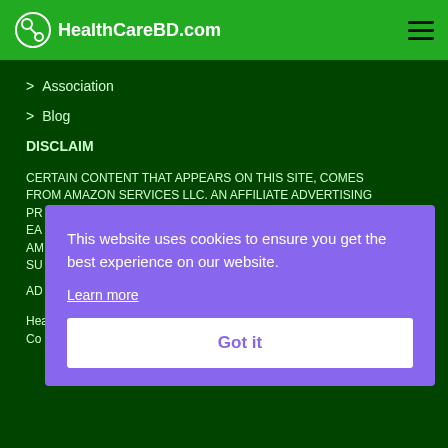HealthCareBD.com
> Association
> Blog
DISCLAIM
CERTAIN CONTENT THAT APPEARS ON THIS SITE, COMES FROM AMAZON SERVICES LLC. AN AFFILIATE ADVERTISING PROGRAM DESIGNED TO PROVIDE A MEANS FOR SITES TO EARN ADVERTISING FEES BY ADVERTISING AND LINKING TO AMAZON.COM. AMAZON SUPPLY IS A TRADEMARK OF AMAZON.COM, INC. OR ITS AFFILIATES.
AD
HealthCareBD.com
Cookies
This website uses cookies to ensure you get the best experience on our website.
Learn more
Got it